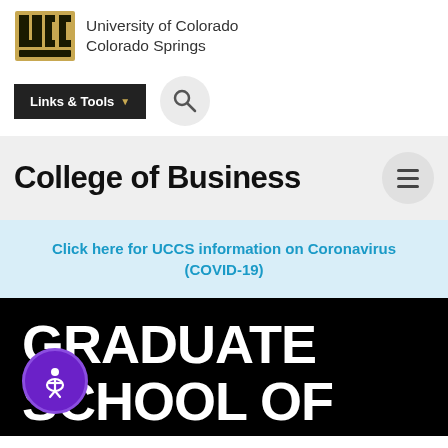[Figure (logo): UCCS logo and University of Colorado Colorado Springs wordmark]
[Figure (screenshot): Navigation bar with Links & Tools button and search icon]
College of Business
Click here for UCCS information on Coronavirus (COVID-19)
GRADUATE SCHOOL OF